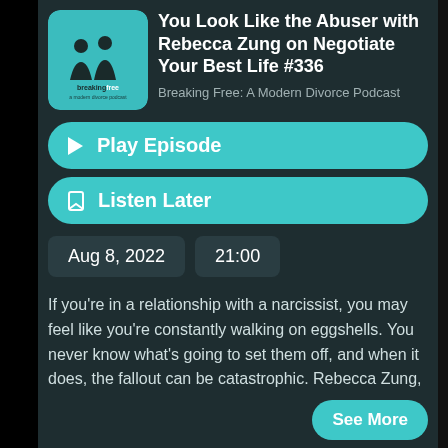[Figure (logo): Breaking Free: A Modern Divorce Podcast album art — teal background with two women silhouettes and 'breaking free' text]
You Look Like the Abuser with Rebecca Zung on Negotiate Your Best Life #336
Breaking Free: A Modern Divorce Podcast
▶ Play Episode
☐ Listen Later
Aug 8, 2022
21:00
If you're in a relationship with a narcissist, you may feel like you're constantly walking on eggshells. You never know what's going to set them off, and when it does, the fallout can be catastrophic. Rebecca Zung,
See More